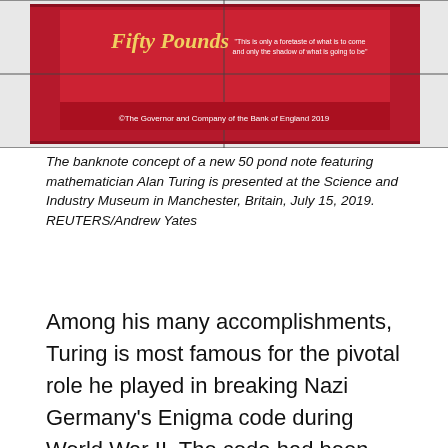[Figure (photo): A banknote concept of a new 50 pound note featuring mathematician Alan Turing, displayed at the Science and Industry Museum in Manchester. The note shows red/crimson design with 'Fifty Pounds' text and 'The Governor and Company of the Bank of England 2019' copyright text.]
The banknote concept of a new 50 pond note featuring mathematician Alan Turing is presented at the Science and Industry Museum in Manchester, Britain, July 15, 2019. REUTERS/Andrew Yates
Among his many accomplishments, Turing is most famous for the pivotal role he played in breaking Nazi Germany's Enigma code during World War II. The code had been believed to be unbreakable as the cipher changed continuously. Historians say the cracking of the code may have helped shorten the war by at least two years, potentially saving millions of